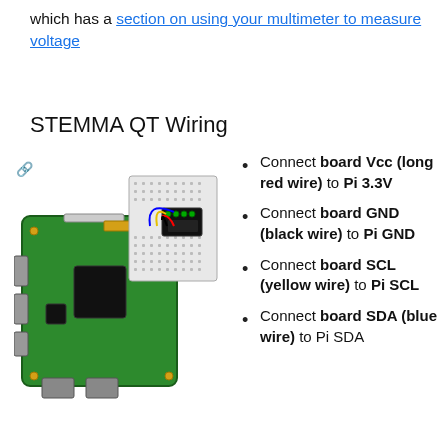which has a section on using your multimeter to measure voltage
STEMMA QT Wiring
[Figure (schematic): Raspberry Pi connected to a breadboard with a small sensor module via STEMMA QT wiring. Colored wires (red, black, yellow, blue) connect the Pi GPIO pins to the sensor on the breadboard.]
Connect board Vcc (long red wire) to Pi 3.3V
Connect board GND (black wire) to Pi GND
Connect board SCL (yellow wire) to Pi SCL
Connect board SDA (blue wire) to Pi SDA